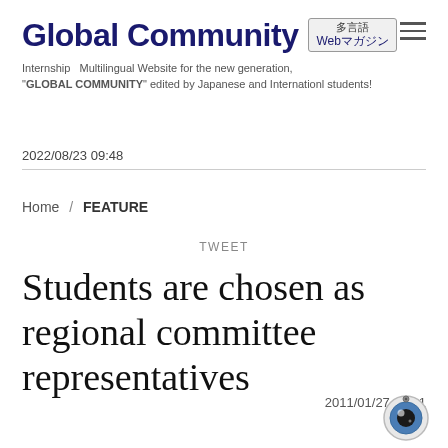Global Community 多言語 Webマガジン
Internship  Multilingual Website for the new generation, "GLOBAL COMMUNITY" edited by Japanese and Internationl students!
2022/08/23 09:48
Home / FEATURE
TWEET
Students are chosen as regional committee representatives
2011/01/27 11:11